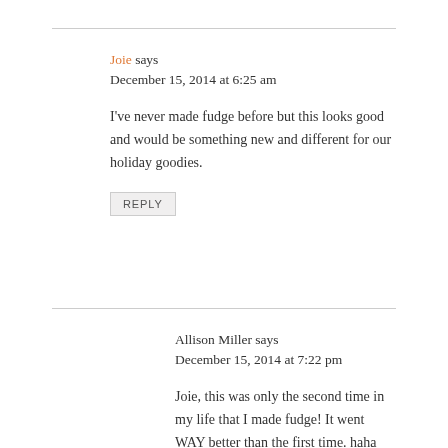Joie says
December 15, 2014 at 6:25 am
I've never made fudge before but this looks good and would be something new and different for our holiday goodies.
REPLY
Allison Miller says
December 15, 2014 at 7:22 pm
Joie, this was only the second time in my life that I made fudge! It went WAY better than the first time. haha You should definitely give this recipe a try!